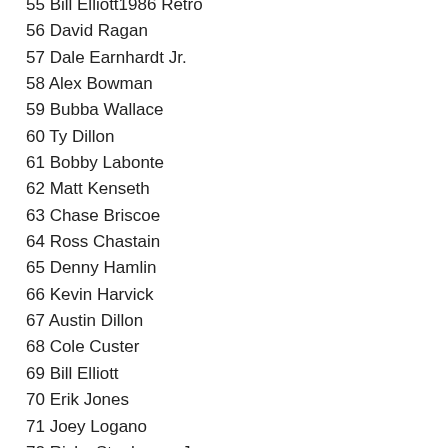55 Bill Elliott1986 Retro
56 David Ragan
57 Dale Earnhardt Jr.
58 Alex Bowman
59 Bubba Wallace
60 Ty Dillon
61 Bobby Labonte
62 Matt Kenseth
63 Chase Briscoe
64 Ross Chastain
65 Denny Hamlin
66 Kevin Harvick
67 Austin Dillon
68 Cole Custer
69 Bill Elliott
70 Erik Jones
71 Joey Logano
72 Ricky Stenhouse Jr.
73 Daniel Suarez